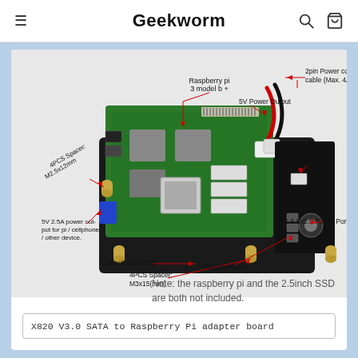Geekworm
[Figure (engineering-diagram): X820 V3.0 SATA to Raspberry Pi adapter board with labeled components: Raspberry Pi 3 model b+, 2pin Power connection cable (Max. 4A), 5V Power Output, PWR SW, 4PCS Spacer M2.5x12mm, 5V 2.5A power output for pi / cellphone / other device., 2.5inch HDD/SSD, 4PCS Spacer M3x15(mm), DC 5.5x2.5 Power Port, USB connector]
Note: the raspberry pi and the 2.5inch SSD are both not included.
X820 V3.0 SATA to Raspberry Pi adapter board